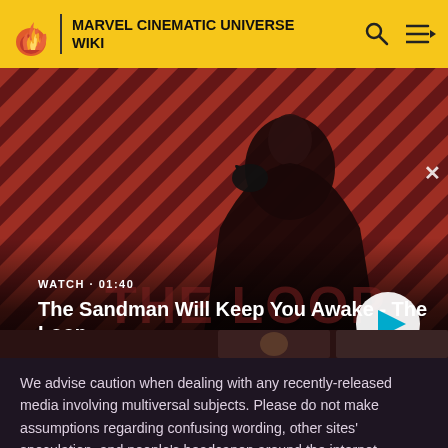MARVEL CINEMATIC UNIVERSE WIKI
[Figure (screenshot): Video thumbnail showing a dark-cloaked figure with a raven on shoulder against a red and dark diagonal striped background. Overlay text reads WATCH · 01:40 and title The Sandman Will Keep You Awake - The Loop with a white circular play button.]
We advise caution when dealing with any recently-released media involving multiversal subjects. Please do not make assumptions regarding confusing wording, other sites' speculation, and people's headcanon around the internet.